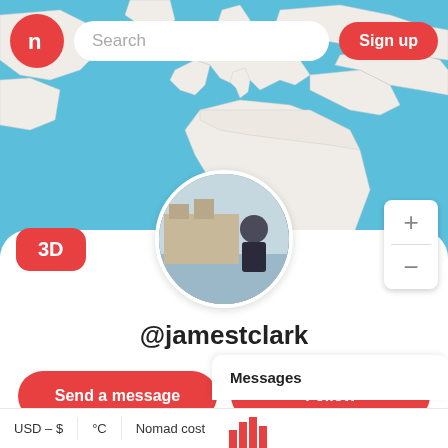[Figure (screenshot): Map application UI screenshot showing a world map with blue oceans and white/light land masses (Europe, Africa, North America visible). Top bar has a red circular logo with map icon, a search bar, and a red Sign up button. A 3D button appears bottom-left of map, zoom +/- controls on the right. A circular profile photo shows a man in front of a castle/moat. Username @jamestclark shown below avatar. Send a message and Follow red buttons. Bottom tabs show USD-$, °C, Nomad cost options. A Messages panel is visible at bottom right.]
Search
Sign up
3D
@jamestclark
Send a message
Follow
USD – $
°C
Nomad cost
Messages